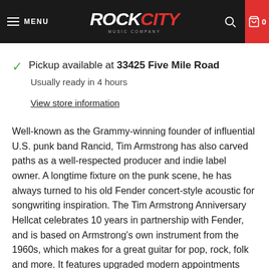MENU | ROCK CITY MUSIC COMPANY | 0
Pickup available at 33425 Five Mile Road
Usually ready in 4 hours
View store information
Well-known as the Grammy-winning founder of influential U.S. punk band Rancid, Tim Armstrong has also carved paths as a well-respected producer and indie label owner. A longtime fixture on the punk scene, he has always turned to his old Fender concert-style acoustic for songwriting inspiration. The Tim Armstrong Anniversary Hellcat celebrates 10 years in partnership with Fender, and is based on Armstrong's own instrument from the 1960s, which makes for a great guitar for pop, rock, folk and more. It features upgraded modern appointments